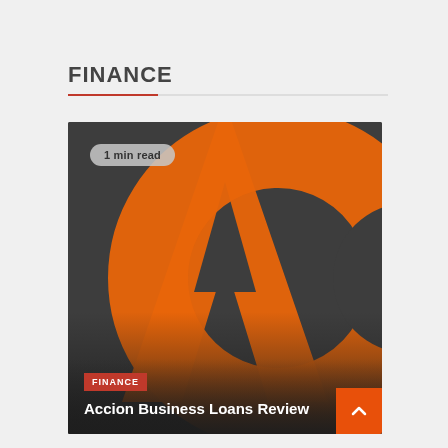FINANCE
[Figure (illustration): Accion Business Loans Review article card with dark orange background showing large letter A and C graphics, '1 min read' badge, FINANCE category tag, and article title 'Accion Business Loans Review']
Accion Business Loans Review